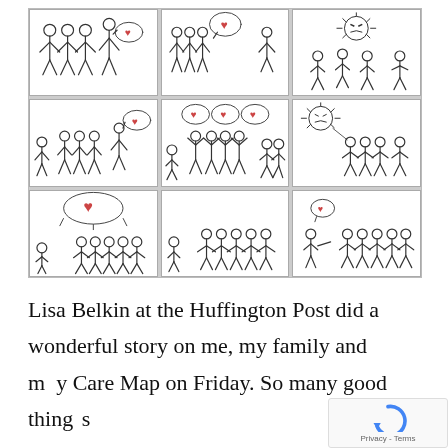[Figure (illustration): A 3x3 grid of comic strip panels showing stick figure people with speech/thought bubbles containing hearts. The panels depict various social scenes: groups of stick figures interacting, with heart symbols above them, and in some panels an angry spiky creature figure. The sequence appears to show themes of love, community, and conflict among stick figure characters.]
Lisa Belkin at the Huffington Post did a wonderful story on me, my family and my Care Map on Friday. So many good things
[Figure (logo): reCAPTCHA logo with Privacy - Terms text]